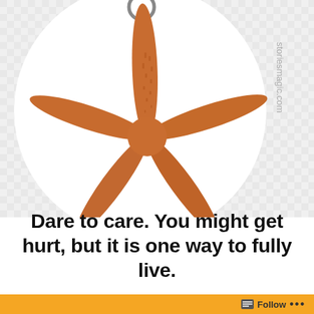[Figure (illustration): A circular image on a white/light grey checkered background showing an orange-brown starfish (sea star) hanging from a grey ring/hook at the top. A watermark text 'storiesmagic.com' appears rotated along the right side of the circle.]
Dare to care. You might get hurt, but it is one way to fully live.
"Caring—about people, about things, about life—is an act of
Follow ...